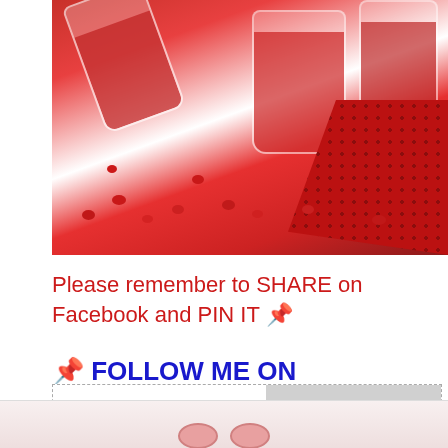[Figure (photo): Photo of glass jars filled with red M&M candies, some spilled on a white surface, with a red sequined cloth in the background. Jars have white text labels including 'Be Mine', 'Valentine', and 'HEARTS'.]
Please remember to SHARE on Facebook and PIN IT 📌
📌 FOLLOW ME ON PINTEREST BY CLICKING HERE
[Figure (photo): Partial preview of another image showing pink/red Valentine's candy items, partially cut off at the bottom of the page.]